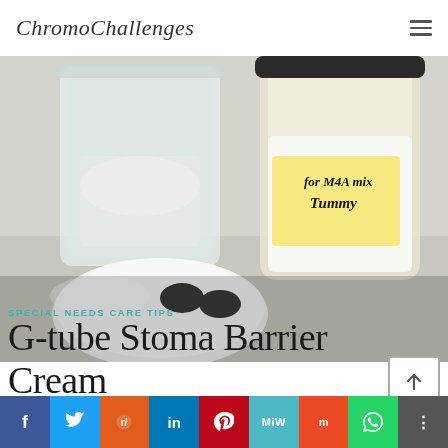ChromoChallenges
[Figure (photo): Photo showing two containers: a clear plastic measuring cup with white powder inside, and a glass jar with a yellow label handwritten 'for M4A mix Tummy' filled with white cream. In the foreground is a circular white pad/disc with two dark gray oval magnets on it, on a white surface.]
SPECIAL NEEDS CARE TIPS
G-tube Stoma Barrier Cream
Facebook Twitter Reddit LinkedIn Pinterest MIX Mix WhatsApp More